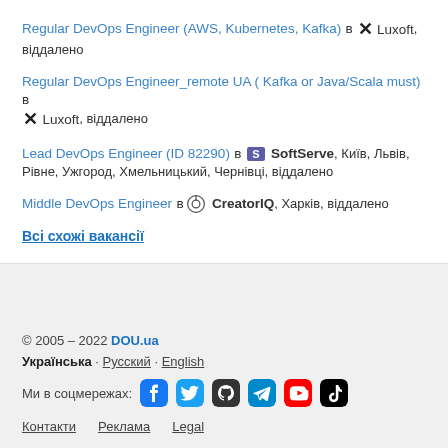Regular DevOps Engineer (AWS, Kubernetes, Kafka) в Luxoft, віддалено
Regular DevOps Engineer_remote UA ( Kafka or Java/Scala must) в Luxoft, віддалено
Lead DevOps Engineer (ID 82290) в SoftServe, Київ, Львів, Рівне, Ужгород, Хмельницький, Чернівці, віддалено
Middle DevOps Engineer в CreatorIQ, Харків, віддалено
Всі схожі вакансії
© 2005–2022 DOU.ua
Українська · Русский · English
Ми в соцмережах:
Контакти   Реклама   Legal